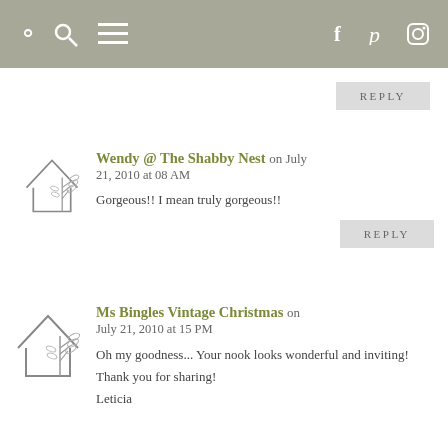Navigation bar with search, menu, facebook, pinterest, instagram icons
REPLY
Wendy @ The Shabby Nest on July 21, 2010 at 08 AM
Gorgeous!! I mean truly gorgeous!!
REPLY
Ms Bingles Vintage Christmas on July 21, 2010 at 15 PM
Oh my goodness... Your nook looks wonderful and inviting!
Thank you for sharing!
Leticia